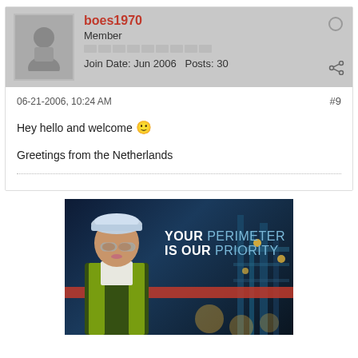boes1970
Member
Join Date: Jun 2006   Posts: 30
06-21-2006, 10:24 AM
#9
Hey hello and welcome 🙂

Greetings from the Netherlands
[Figure (photo): Advertisement banner showing a female worker in hard hat and safety vest with text YOUR PERIMETER IS OUR PRIORITY over an industrial background at night]